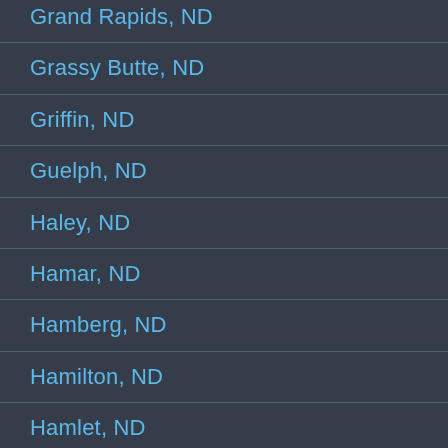Grand Rapids, ND
Grassy Butte, ND
Griffin, ND
Guelph, ND
Haley, ND
Hamar, ND
Hamberg, ND
Hamilton, ND
Hamlet, ND
Hanks, ND